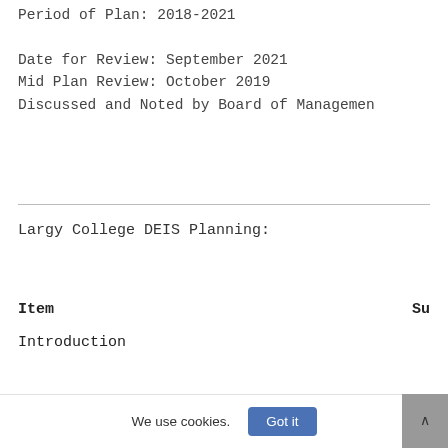Period of Plan: 2018-2021

Date for Review: September 2021
Mid Plan Review: October 2019
Discussed and Noted by Board of Managemen
Largy College DEIS Planning:
| Item | Su |
| --- | --- |
| Introduction |  |